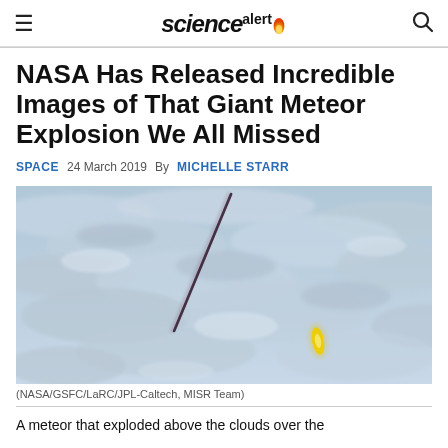science alert
NASA Has Released Incredible Images of That Giant Meteor Explosion We All Missed
SPACE  24 March 2019  By MICHELLE STARR
[Figure (photo): Satellite image showing meteor trail over clouds — a dark diagonal streak with a small yellow flash point, taken from above the cloud layer. NASA/GSFC/LaRC/JPL-Caltech, MISR Team.]
(NASA/GSFC/LaRC/JPL-Caltech, MISR Team)
A meteor that exploded above the clouds over the